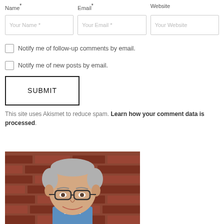Name*
Email*
Website
Your Name *
Your Email *
Your Website
Notify me of follow-up comments by email.
Notify me of new posts by email.
SUBMIT
This site uses Akismet to reduce spam. Learn how your comment data is processed.
[Figure (photo): Headshot of a middle-aged man with gray hair and glasses, smiling, in front of a brick wall background]